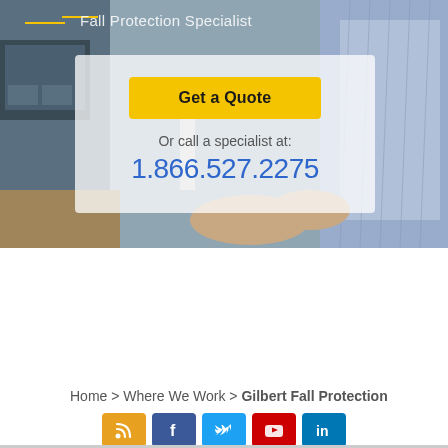[Figure (screenshot): Hero banner showing a person working at a computer, overlaid with a semi-transparent white CTA box containing a yellow 'Get a Quote' button, phone number 1.866.527.2275, and breadcrumb navigation. Social media icons for RSS, Facebook, Twitter, YouTube, LinkedIn shown at the bottom.]
Fall Protection Specialist
Get a Quote
Or call a specialist at:
1.866.527.2275
Home > Where We Work > Gilbert Fall Protection